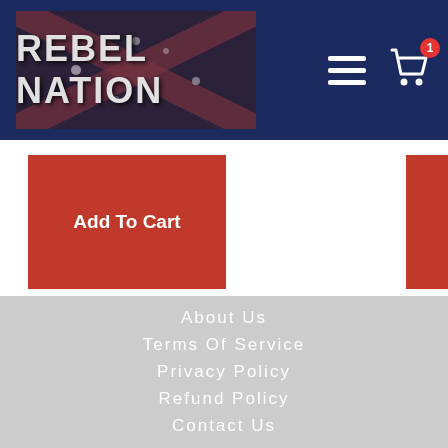REBEL NATION
Add To Cart
Add To Cart
About Us
Terms Of Service
Privacy Policy
Refund Policy
Contact Us